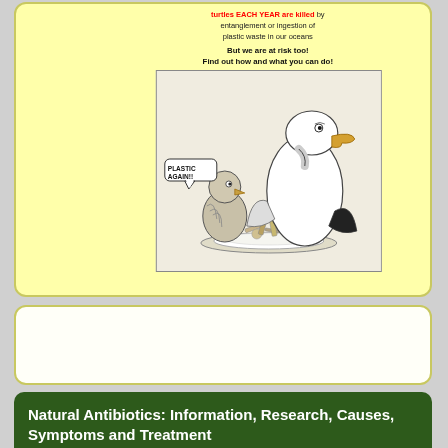[Figure (illustration): Cartoon by John Pritchett showing an adult seabird (albatross) feeding plastic waste to its chick on a plate. The chick has a speech bubble saying 'PLASTIC AGAIN!!' Above the cartoon is text about sea turtles being killed by entanglement or ingestion of plastic waste in our oceans, and a call to action.]
Natural Antibiotics: Information, Research, Causes, Symptoms and Treatment